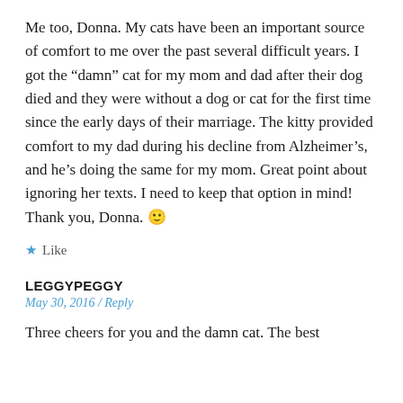Me too, Donna. My cats have been an important source of comfort to me over the past several difficult years. I got the “damn” cat for my mom and dad after their dog died and they were without a dog or cat for the first time since the early days of their marriage. The kitty provided comfort to my dad during his decline from Alzheimer’s, and he’s doing the same for my mom. Great point about ignoring her texts. I need to keep that option in mind! Thank you, Donna. 🙂
★ Like
LEGGYPEGGY
May 30, 2016 / Reply
Three cheers for you and the damn cat. The best